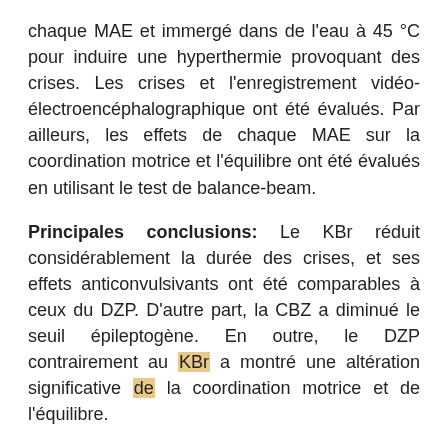chaque MAE et immergé dans de l'eau à 45 °C pour induire une hyperthermie provoquant des crises. Les crises et l'enregistrement vidéo-électroencéphalographique ont été évalués. Par ailleurs, les effets de chaque MAE sur la coordination motrice et l'équilibre ont été évalués en utilisant le test de balance-beam.
Principales conclusions: Le KBr réduit considérablement la durée des crises, et ses effets anticonvulsivants ont été comparables à ceux du DZP. D'autre part, la CBZ a diminué le seuil épileptogène. En outre, le DZP contrairement au KBr a montré une altération significative de la coordination motrice et de l'équilibre.